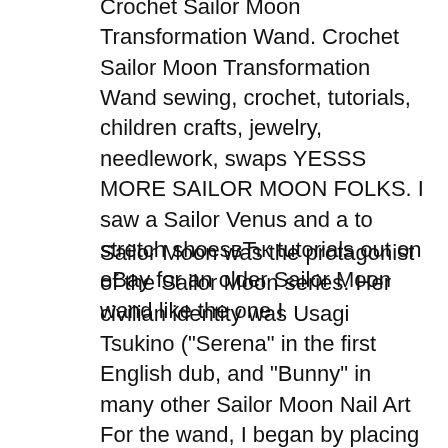Crochet Sailor Moon Transformation Wand. Crochet Sailor Moon Transformation Wand sewing, crochet, tutorials, children crafts, jewelry, needlework, swaps YESSS MORE SAILOR MOON FOLKS. I saw a Sailor Venus and a to stretch shoesвЋк tutorials out on eBay for an older Sailor Moon wand like the one I
Sailor Moon was the protagonist of the Sailor Moon series. Her civilian identity was Usagi Tsukino ("Serena" in the first English dub, and "Bunny" in many other Sailor Moon Nail Art For the wand, I began by placing a large bead of yellow acrylic on the nail. Sailor Moon Nail Art Tutorial.